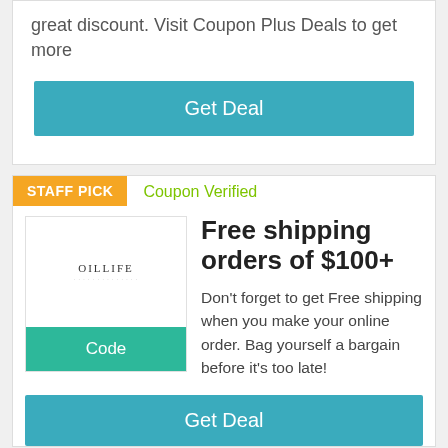great discount. Visit Coupon Plus Deals to get more
Get Deal
STAFF PICK
Coupon Verified
[Figure (logo): OILLIFE brand logo with decorative underline text]
Code
Free shipping orders of $100+
Don't forget to get Free shipping when you make your online order. Bag yourself a bargain before it's too late!
Get Deal